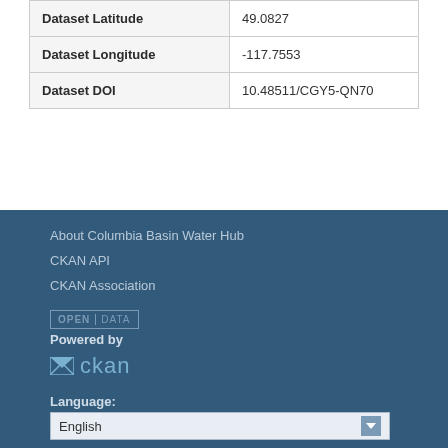| Dataset Latitude | 49.0827 |
| Dataset Longitude | -117.7553 |
| Dataset DOI | 10.48511/CGY5-QN70 |
About Columbia Basin Water Hub
CKAN API
CKAN Association
[Figure (logo): Open Data badge with OPEN DATA text in bordered rectangle]
Powered by
[Figure (logo): CKAN logo with envelope icon and 'ckan' text]
Language:
English